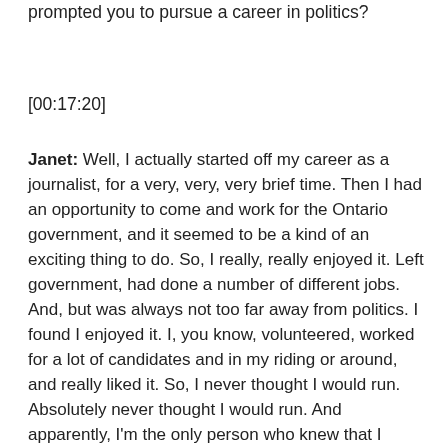prompted you to pursue a career in politics?
[00:17:20]
Janet: Well, I actually started off my career as a journalist, for a very, very, very brief time. Then I had an opportunity to come and work for the Ontario government, and it seemed to be a kind of an exciting thing to do. So, I really, really enjoyed it. Left government, had done a number of different jobs. And, but was always not too far away from politics. I found I enjoyed it. I, you know, volunteered, worked for a lot of candidates and in my riding or around, and really liked it. So, I never thought I would run. Absolutely never thought I would run. And apparently, I'm the only person who knew that I wasn't going to run. Everybody else was sure I was going to run. And after six months when the riding came to me actually, for the 1990